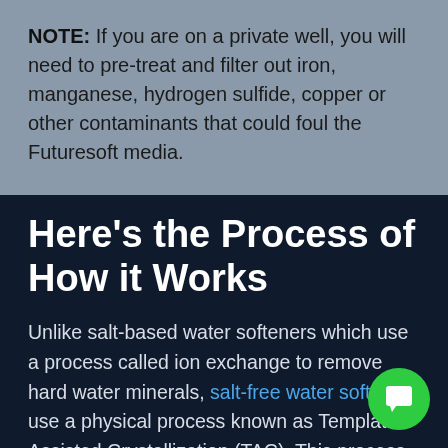NOTE: If you are on a private well, you will need to pre-treat and filter out iron, manganese, hydrogen sulfide, copper or other contaminants that could foul the Futuresoft media.
Here's the Process of How it Works
Unlike salt-based water softeners which use a process called ion exchange to remove hard water minerals, salt-free water softeners use a physical process known as Template Assisted Crystallization (TAC). This process converts the hardness-causing minerals in the water to a hardness crystal that won't stick to any surface in your home, keeping your appliances and hot water heaters free of hard
[Figure (illustration): Green circular chat bubble icon with a white speech bubble/chat icon in center, positioned in bottom-right corner of the dark section]